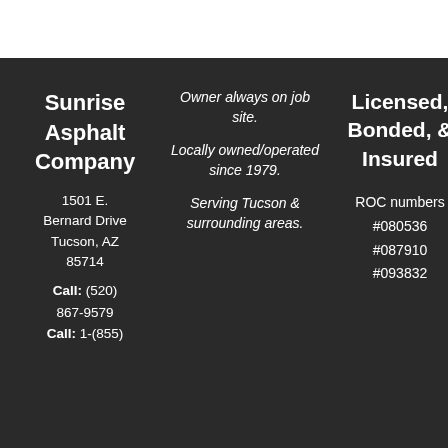Sunrise Asphalt Company
1501 E. Bernard Drive Tucson, AZ 85714
Call: (520) 867-9579
Call: 1-(855) ...
Owner always on job site. Locally owned/operated since 1979. Serving Tucson & surrounding areas.
Licensed, Bonded, & Insured
ROC numbers #080536 #087910 #093832